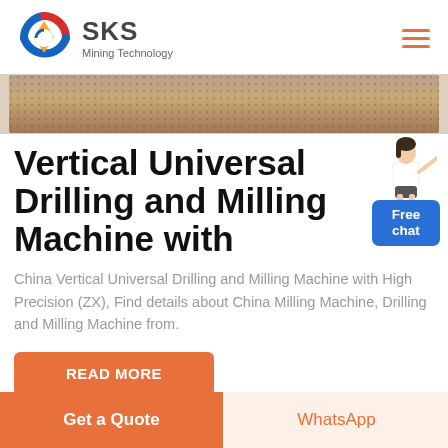SKS Mining Technology
[Figure (photo): Hero image strip showing a milling/drilling surface texture with granular brown material]
Vertical Universal Drilling and Milling Machine with
[Figure (illustration): Free chat widget with a woman pointing, and a blue button labeled 'Free chat']
China Vertical Universal Drilling and Milling Machine with High Precision (ZX), Find details about China Milling Machine, Drilling and Milling Machine from.
READ MORE
Get a Quote
WhatsApp